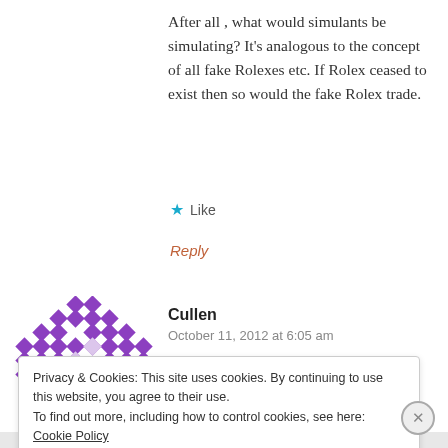After all , what would simulants be simulating? It’s analogous to the concept of all fake Rolexes etc. If Rolex ceased to exist then so would the fake Rolex trade.
★ Like
Reply
Cullen
October 11, 2012 at 6:05 am
Privacy & Cookies: This site uses cookies. By continuing to use this website, you agree to their use.
To find out more, including how to control cookies, see here: Cookie Policy
Close and accept